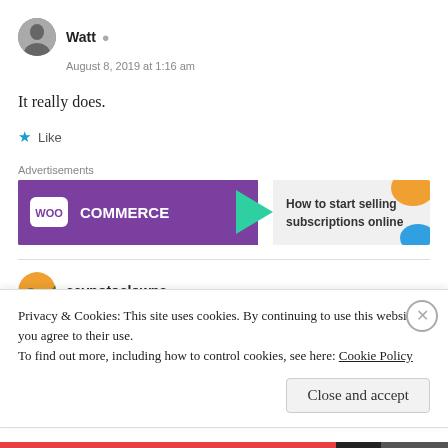Watt
August 8, 2019 at 1:16 am
It really does.
Like
Advertisements
[Figure (illustration): WooCommerce advertisement banner: 'How to start selling subscriptions online']
saynotoclowns
Privacy & Cookies: This site uses cookies. By continuing to use this website, you agree to their use.
To find out more, including how to control cookies, see here: Cookie Policy
Close and accept